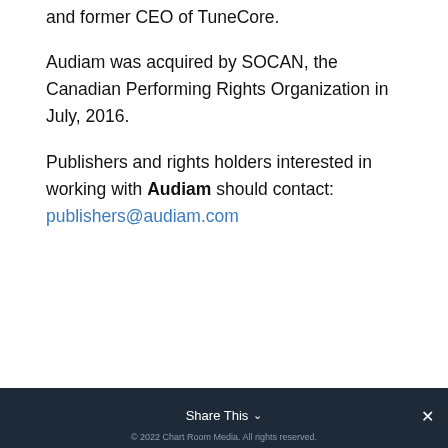and former CEO of TuneCore.
Audiam was acquired by SOCAN, the Canadian Performing Rights Organization in July, 2016.
Publishers and rights holders interested in working with Audiam should contact: publishers@audiam.com
Share This  ×  © 2022 Chart Room Media. All rights reserved.